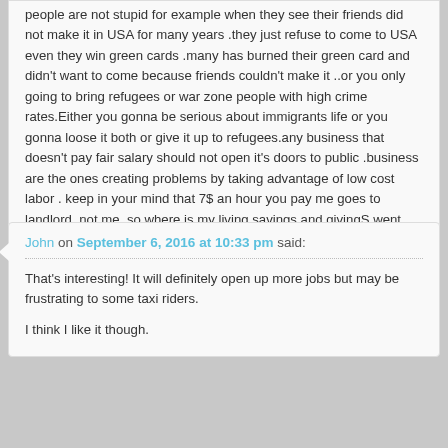people are not stupid for example when they see their friends did not make it in USA for many years .they just refuse to come to USA even they win green cards .many has burned their green card and didn't want to come because friends couldn't make it ..or you only going to bring refugees or war zone people with high crime rates.Either you gonna be serious about immigrants life or you gonna loose it both or give it up to refugees.any business that doesn't pay fair salary should not open it's doors to public .business are the ones creating problems by taking advantage of low cost labor . keep in your mind that 7$ an hour you pay me goes to landlord .not me .so where is my living savings and givingS went to.because I am a human need to be like others to save give and live.
John on September 6, 2016 at 10:33 pm said:
That's interesting! It will definitely open up more jobs but may be frustrating to some taxi riders.

I think I like it though.